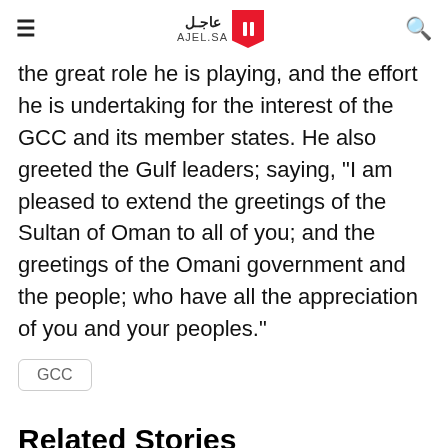AJEL.SA
the great role he is playing, and the effort he is undertaking for the interest of the GCC and its member states. He also greeted the Gulf leaders; saying, "I am pleased to extend the greetings of the Sultan of Oman to all of you; and the greetings of the Omani government and the people; who have all the appreciation of you and your peoples."
GCC
Related Stories
More in stories Something...